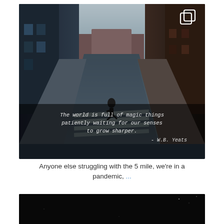[Figure (photo): Dark moody street scene with a person crossing a road at a zebra crossing, urban brick buildings on both sides, overcast sky. Overlaid italic monospace text quote: 'The world is full of magic things patiently waiting for our senses to grow sharper. – W.B. Yeats'. A copy/layers icon in top-right corner.]
Anyone else struggling with the 5 mile, we're in a pandemic, ...
[Figure (photo): Dark nearly black image, partial view, bottom of page.]